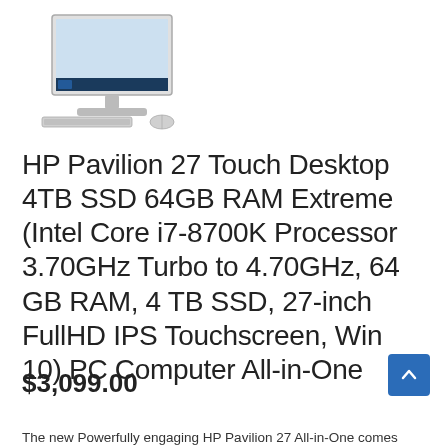[Figure (photo): HP Pavilion 27 All-in-One desktop computer with keyboard and mouse, product thumbnail image]
HP Pavilion 27 Touch Desktop 4TB SSD 64GB RAM Extreme (Intel Core i7-8700K Processor 3.70GHz Turbo to 4.70GHz, 64 GB RAM, 4 TB SSD, 27-inch FullHD IPS Touchscreen, Win 10) PC Computer All-in-One
$3,099.00
The new Powerfully engaging HP Pavilion 27 All-in-One comes